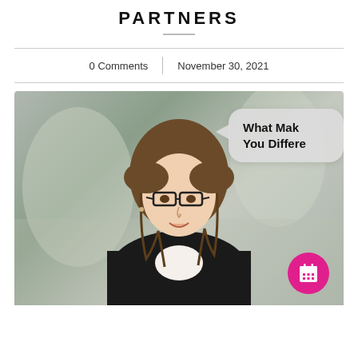PARTNERS
0 Comments | November 30, 2021
[Figure (photo): A woman with long brown hair and glasses wearing a black jacket and white top, speaking to camera in a blurred office background. A speech bubble on the upper right reads 'What Make You Differe' (partially cropped). A magenta circular calendar button is in the lower right corner.]